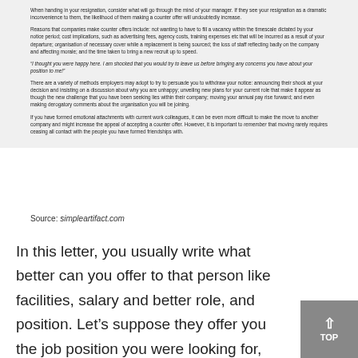When handing in your resignation, consider what will go through the mind of your manager. If they see your resignation as a dramatic inconvenience to them, the likelihood of them making a counter offer will undoubtedly increase.
Reasons that companies make counter offers include: not wanting to have to fill a vacancy within the timescale dictated by your notice period; cost implications, such as advertising fees, agency costs, training expenses etc that will be incurred as a result of your departure; organisation of necessary cover while a replacement is being sourced; the loss of staff reflecting badly on the company and affecting morale; and the time taken to bring a new recruit up to speed.
“I thought you were happy here. I am shocked that you would try to leave us before bringing any concerns you have about your position to me!”
There are a variety of methods employers may adopt to try to persuade you to withdraw your notice: announcing their shock at your decision and insisting on a discussion about why you are unhappy; unveiling new plans for your current role that make it appear as though the new challenge that you have been seeking lies within their company; moving your annual pay rise forward; and even making derogatory comments about the organisation you will be joining.
If you have formed emotional attachments with current work colleagues, it can be even more difficult to make the move to another company and might increase the appeal of accepting a counter offer. However, it is important to remember that moving rarely requires ceasing all contact with the people you have formed friendships with.
Source: simpleartifact.com
In this letter, you usually write what better can you offer to that person like facilities, salary and better role, and position. Let’s suppose they offer you the job position you were looking for, but maybe some of the terms in the offer such as salary, benefits, work schedule, etc.